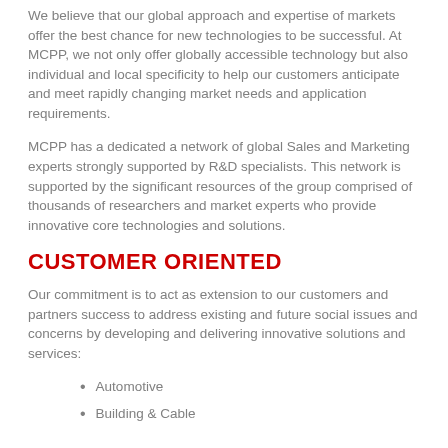We believe that our global approach and expertise of markets offer the best chance for new technologies to be successful. At MCPP, we not only offer globally accessible technology but also individual and local specificity to help our customers anticipate and meet rapidly changing market needs and application requirements.
MCPP has a dedicated a network of global Sales and Marketing experts strongly supported by R&D specialists. This network is supported by the significant resources of the group comprised of thousands of researchers and market experts who provide innovative core technologies and solutions.
CUSTOMER ORIENTED
Our commitment is to act as extension to our customers and partners success to address existing and future social issues and concerns by developing and delivering innovative solutions and services:
Automotive
Building & Cable